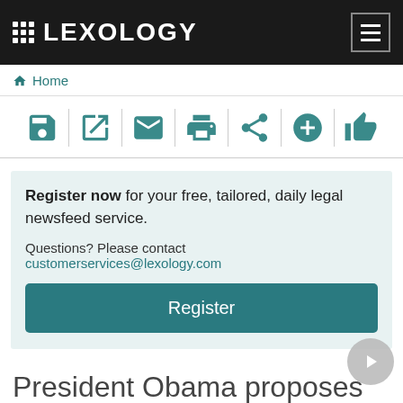LEXOLOGY
Home
[Figure (screenshot): Toolbar with action icons: save, edit/external link, email, print, share, add, like]
Register now for your free, tailored, daily legal newsfeed service. Questions? Please contact customerservices@lexology.com Register
President Obama proposes sweeping reform of the financial market regulation